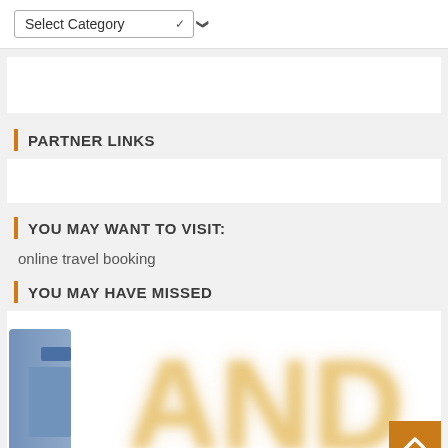Select Category
PARTNER LINKS
YOU MAY WANT TO VISIT:
online travel booking
YOU MAY HAVE MISSED
[Figure (illustration): Blurred image showing large yellow 'AND' text with a blue Facebook-style icon on the left, and an orange back-to-top button in the bottom right corner]